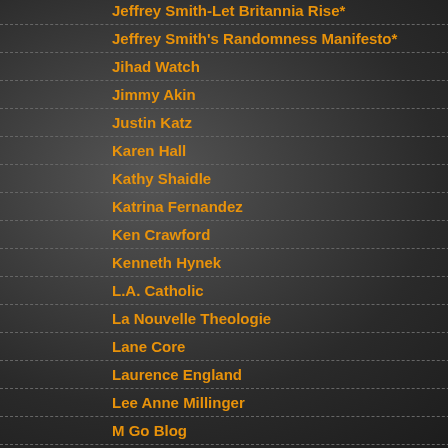Jeffrey Smith-Let Britannia Rise*
Jeffrey Smith's Randomness Manifesto*
Jihad Watch
Jimmy Akin
Justin Katz
Karen Hall
Kathy Shaidle
Katrina Fernandez
Ken Crawford
Kenneth Hynek
L.A. Catholic
La Nouvelle Theologie
Lane Core
Laurence England
Lee Anne Millinger
M Go Blog
Maria Lectrix
Nope--it's time to tear an Amendm... unchain Caesar to kick doors in to... midst. If you like the drug war, you...
However, to be fair, there is a mor... this post-Second Amendment drea... board, your family or friends be ha... been stopped by a firearm, at leas... compounded by the knowledge th... That's a comforting thought for ho... don't you think?
at February 19, 2013   9 comments:
Labels: Constitution--What Constitutio... Be A Prick
Tuesday, February 12, 2013
I know what women like.